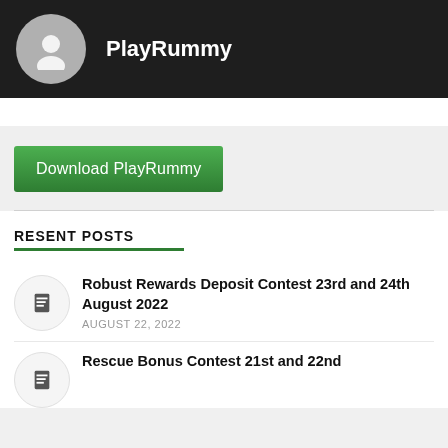PlayRummy
[Figure (other): Green Download PlayRummy button]
RESENT POSTS
Robust Rewards Deposit Contest 23rd and 24th August 2022 — AUGUST 22, 2022
Rescue Bonus Contest 21st and 22nd August